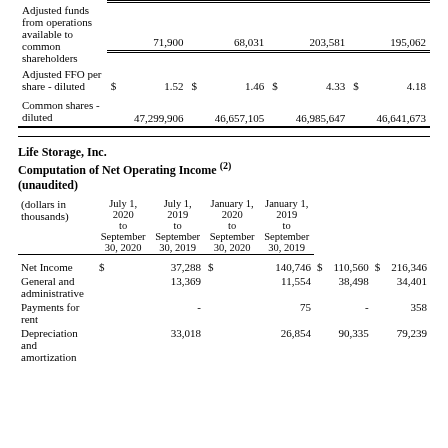|  | July 1, 2020 to September 30, 2020 | July 1, 2019 to September 30, 2019 | January 1, 2020 to September 30, 2020 | January 1, 2019 to September 30, 2019 |
| --- | --- | --- | --- | --- |
| Adjusted funds from operations available to common shareholders | 71,900 | 68,031 | 203,581 | 195,062 |
| Adjusted FFO per share - diluted | $ 1.52 | $ 1.46 | $ 4.33 | $ 4.18 |
| Common shares - diluted | 47,299,906 | 46,657,105 | 46,985,647 | 46,641,673 |
Life Storage, Inc.
Computation of Net Operating Income (2)
(unaudited)
| (dollars in thousands) | July 1, 2020 to September 30, 2020 | July 1, 2019 to September 30, 2019 | January 1, 2020 to September 30, 2020 | January 1, 2019 to September 30, 2019 |
| --- | --- | --- | --- | --- |
| Net Income | $ 37,288 | $ 140,746 | $ 110,560 | $ 216,346 |
| General and administrative | 13,369 | 11,554 | 38,498 | 34,401 |
| Payments for rent | - | 75 | - | 358 |
| Depreciation and amortization | 33,018 | 26,854 | 90,335 | 79,239 |